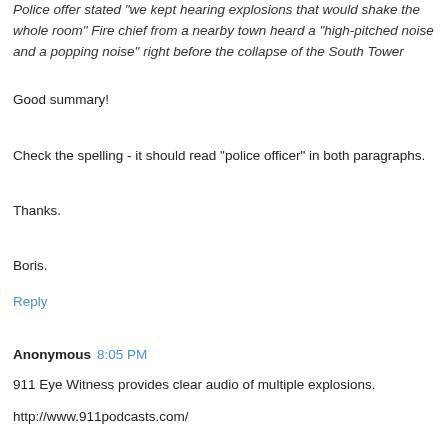Police offer stated "we kept hearing explosions that would shake the whole room" Fire chief from a nearby town heard a "high-pitched noise and a popping noise" right before the collapse of the South Tower
Good summary!
Check the spelling - it should read "police officer" in both paragraphs.
Thanks.
Boris.
Reply
Anonymous 8:05 PM
911 Eye Witness provides clear audio of multiple explosions.
http://www.911podcasts.com/